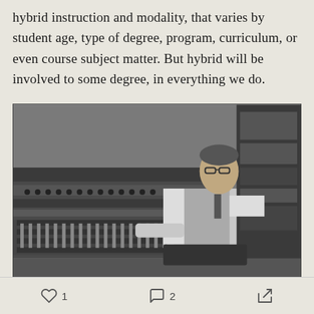hybrid instruction and modality, that varies by student age, type of degree, program, curriculum, or even course subject matter. But hybrid will be involved to some degree, in everything we do.
[Figure (photo): Black and white photograph of a man seated at a large professional audio mixing console/recording studio board, wearing glasses, a vest over a white shirt, and a tie. He is leaning on the console with one arm.]
1  2